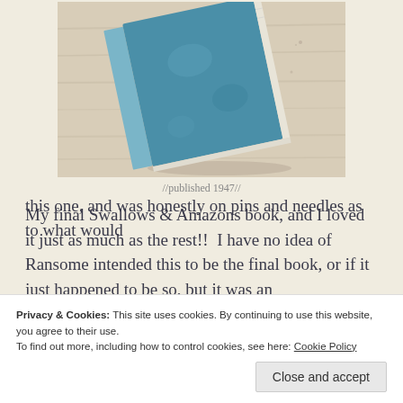[Figure (photo): A worn blue hardcover book photographed at an angle on a light wooden surface]
//published 1947//
My final Swallows & Amazons book, and I loved it just as much as the rest!!  I have no idea of Ransome intended this to be the final book, or if it just happened to be so, but it was an
Privacy & Cookies: This site uses cookies. By continuing to use this website, you agree to their use.
To find out more, including how to control cookies, see here: Cookie Policy
this one, and was honestly on pins and needles as to what would